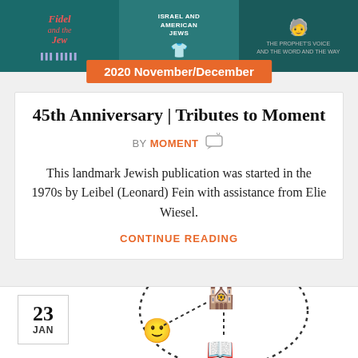[Figure (photo): Three magazine covers side by side on teal/green background — left shows Fidel and Jews themed cover, middle shows American Jews themed cover, right shows a portrait cover]
2020 November/December
45th Anniversary | Tributes to Moment
BY MOMENT
This landmark Jewish publication was started in the 1970s by Leibel (Leonard) Fein with assistance from Elie Wiesel.
CONTINUE READING
[Figure (illustration): 23 JAN date box on left. Center illustration shows emojis and icons: smiley face emoji, synagogue building emoji, and open book emoji arranged in a dotted arc/circle pattern]